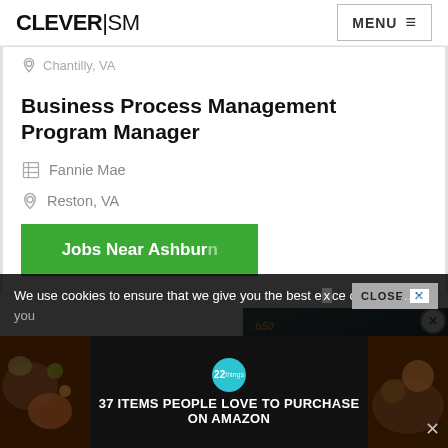CLEVERISM  MENU
Chantilly, VA
Business Process Management Program Manager
Fannie Mae
Reston, VA
Jobs Near Ashburn
[Figure (photo): Graduates in caps and gowns smiling and holding diplomas, video overlay with play button and b50 badge]
We use cookies to ensure that we give you the best experience on our w... at you
[Figure (infographic): Bottom advertisement banner: 37 ITEMS PEOPLE LOVE TO PURCHASE ON AMAZON with teal badge showing 22, dark food photography on left and right sides]
37 ITEMS PEOPLE LOVE TO PURCHASE ON AMAZON